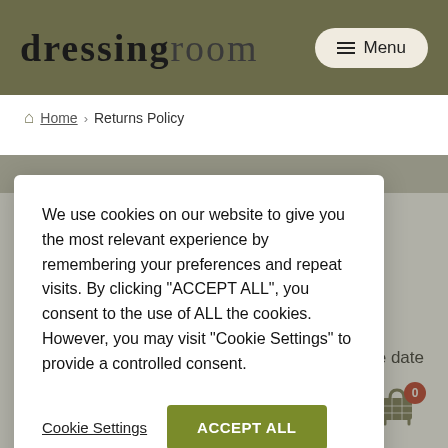dressingroom — Menu
Home › Returns Policy
We use cookies on our website to give you the most relevant experience by remembering your preferences and repeat visits. By clicking "ACCEPT ALL", you consent to the use of ALL the cookies. However, you may visit "Cookie Settings" to provide a controlled consent.
Cookie Settings  ACCEPT ALL
ys of the date